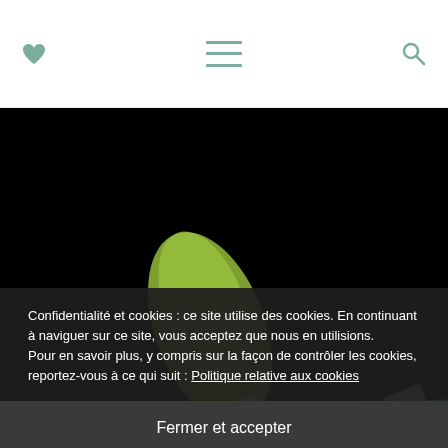♥ ≡ 🔍
[Figure (photo): Black background photo showing a green ribbon/bow and teal/cyan pencil or stick with white paper elements — craft supplies on dark background]
Confidentialité et cookies : ce site utilise des cookies. En continuant à naviguer sur ce site, vous acceptez que nous en utilisions.
Pour en savoir plus, y compris sur la façon de contrôler les cookies, reportez-vous à ce qui suit : Politique relative aux cookies
Fermer et accepter